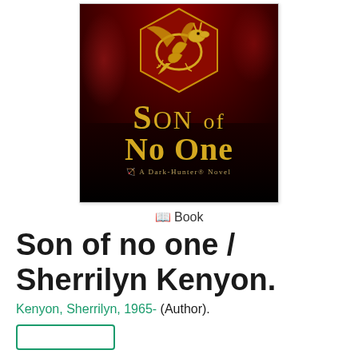[Figure (illustration): Book cover of 'Son of No One' by Sherrilyn Kenyon — A Dark-Hunter Novel. Dark red and black background with a golden dragon on a crest/shield at top. Large gold serif text reads 'Son of No One' with 'A Dark-Hunter® Novel' subtitle.]
📖 Book
Son of no one / Sherrilyn Kenyon.
Kenyon, Sherrilyn, 1965- (Author).